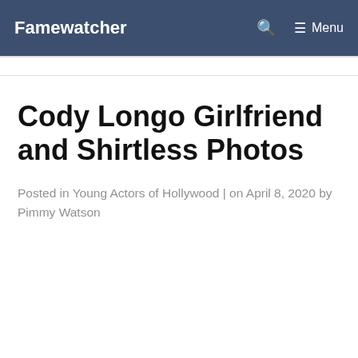Famewatcher  Menu
Cody Longo Girlfriend and Shirtless Photos
Posted in Young Actors of Hollywood | on April 8, 2020 by Pimmy Watson